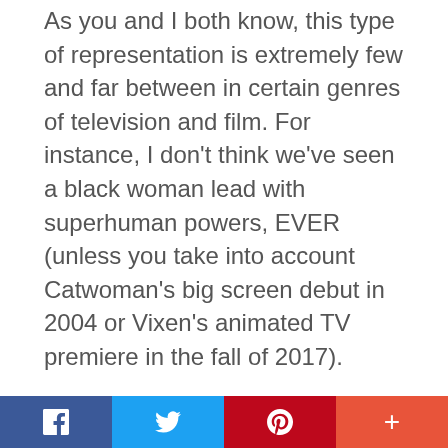As you and I both know, this type of representation is extremely few and far between in certain genres of television and film. For instance, I don't think we've seen a black woman lead with superhuman powers, EVER (unless you take into account Catwoman's big screen debut in 2004 or Vixen's animated TV premiere in the fall of 2017).
So, seeing that this show will be hitting network TV with the life, loves and labors of Jefferson Pierce on a weekly to semi-weekly basis, that's kind of a big deal. All that, and it seems like Scooter has completely moved on…
Facebook  Twitter  Pinterest  +